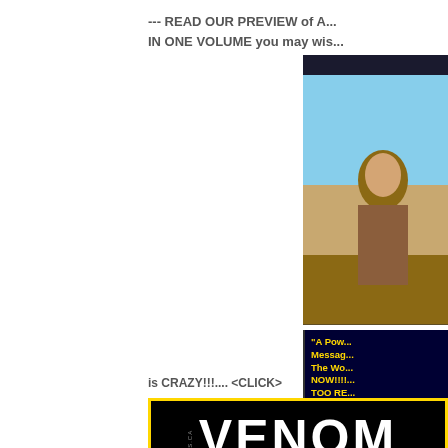--- READ OUR PREVIEW of A... IN ONE VOLUME you may wis...
[Figure (illustration): Cropped comic book page showing a figure with blue sky and brown tones, partially cut off on the right side]
[Figure (illustration): Dark blue/black box with yellow text reading: "A Powe... Messag... The Wo... NOW!!!! TOO RE... Many.... ..."]
is CRAZY!!!.... <CLICK>
[Figure (illustration): Venom banner image with black background, yellow border, white text reading VENOM IS COMING 4 U... with collections.ca watermark on the left side]